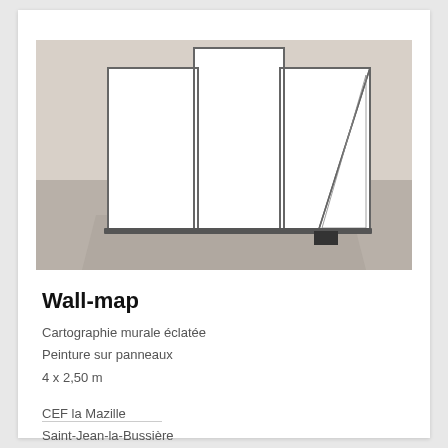[Figure (illustration): 3D illustration of a wall-map display with three white vertical panels arranged like a triptych, shown in perspective with a triangular support on the right side, set against a grey-beige background]
Wall-map
Cartographie murale éclatée
Peinture sur panneaux
4 x 2,50 m
CEF la Mazille
Saint-Jean-la-Bussière